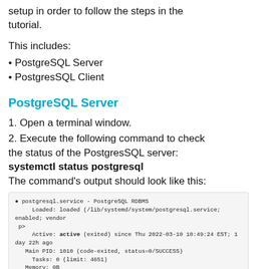setup in order to follow the steps in the tutorial.
This includes:
• PostgreSQL Server
• PostgresSQL Client
PostgreSQL Server
1. Open a terminal window.
2. Execute the following command to check the status of the PostgresSQL server:
systemctl status postgresql
The command's output should look like this:
[Figure (screenshot): Terminal output showing postgresql.service status as active (exited) since Thu 2022-03-10 10:49:24 EST; 1 day 22h ago, Main PID 1010 (code-exited, status=0/SUCCESS), Tasks 0 (limit: 4651), Memory 0B, CPU 0, CGroup /system.slice/postgresql.service]